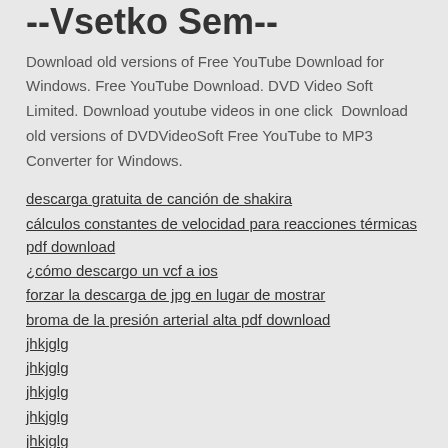--Vsetko Sem--
Download old versions of Free YouTube Download for Windows. Free YouTube Download. DVD Video Soft Limited. Download youtube videos in one click  Download old versions of DVDVideoSoft Free YouTube to MP3 Converter for Windows.
descarga gratuita de canción de shakira
cálculos constantes de velocidad para reacciones térmicas pdf download
¿cómo descargo un vcf a ios
forzar la descarga de jpg en lugar de mostrar
broma de la presión arterial alta pdf download
jhkjglg
jhkjglg
jhkjglg
jhkjglg
jhkjglg
jhkjglg